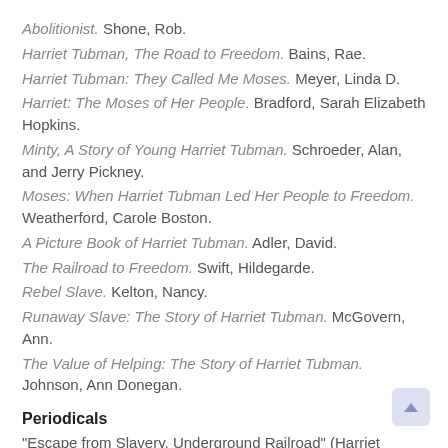Abolitionist. Shone, Rob.
Harriet Tubman, The Road to Freedom. Bains, Rae.
Harriet Tubman: They Called Me Moses. Meyer, Linda D.
Harriet: The Moses of Her People. Bradford, Sarah Elizabeth Hopkins.
Minty, A Story of Young Harriet Tubman. Schroeder, Alan, and Jerry Pickney.
Moses: When Harriet Tubman Led Her People to Freedom. Weatherford, Carole Boston.
A Picture Book of Harriet Tubman. Adler, David.
The Railroad to Freedom. Swift, Hildegarde.
Rebel Slave. Kelton, Nancy.
Runaway Slave: The Story of Harriet Tubman. McGovern, Ann.
The Value of Helping: The Story of Harriet Tubman. Johnson, Ann Donegan.
Periodicals
"Escape from Slavery, Underground Railroad" (Harriet